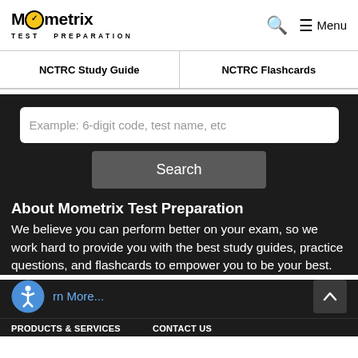Mometrix TEST PREPARATION | Search | Menu
NCTRC Study Guide | NCTRC Flashcards
Example: 6-digit code, test name, etc
Search
About Mometrix Test Preparation
We believe you can perform better on your exam, so we work hard to provide you with the best study guides, practice questions, and flashcards to empower you to be your best.
Learn More...
PRODUCTS & SERVICES    CONTACT US